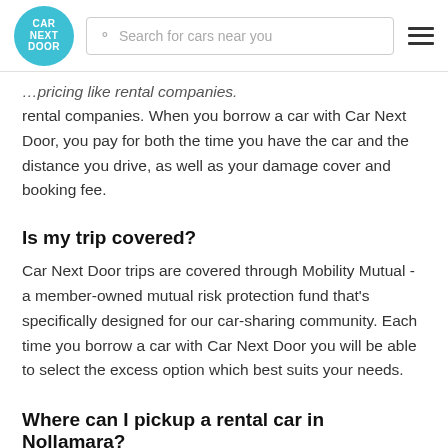CAR NEXT DOOR | Search for cars near you
...pricing like rental companies. When you borrow a car with Car Next Door, you pay for both the time you have the car and the distance you drive, as well as your damage cover and booking fee.
Is my trip covered?
Car Next Door trips are covered through Mobility Mutual - a member-owned mutual risk protection fund that's specifically designed for our car-sharing community. Each time you borrow a car with Car Next Door you will be able to select the excess option which best suits your needs.
Where can I pickup a rental car in Nollamara?
With Car Next Door you can access hundreds of vans